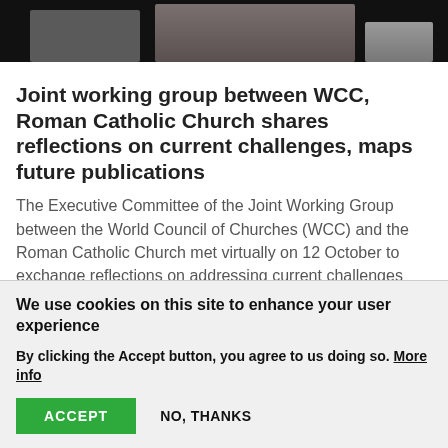[Figure (photo): Screenshot of a virtual video meeting showing partial faces/thumbnails of participants against a dark background]
Joint working group between WCC, Roman Catholic Church shares reflections on current challenges, maps future publications
The Executive Committee of the Joint Working Group between the World Council of Churches (WCC) and the Roman Catholic Church met virtually on 12 October to exchange reflections on addressing current challenges and to plan release of future publications.
We use cookies on this site to enhance your user experience
By clicking the Accept button, you agree to us doing so. More info